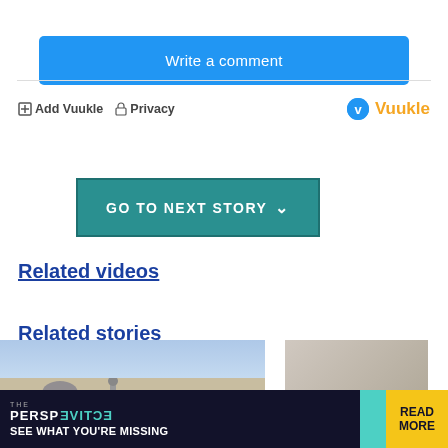Write a comment
Add Vuukle  Privacy
[Figure (logo): Vuukle logo with blue circle icon and orange text]
[Figure (screenshot): Teal GO TO NEXT STORY button with chevron]
Related videos
Related stories
[Figure (photo): Two related story thumbnail images: left shows a minaret/mosque with blue sky, right shows a person near a wall]
[Figure (infographic): THE PERSPECTIVE - SEE WHAT YOU'RE MISSING ad banner with READ MORE button]